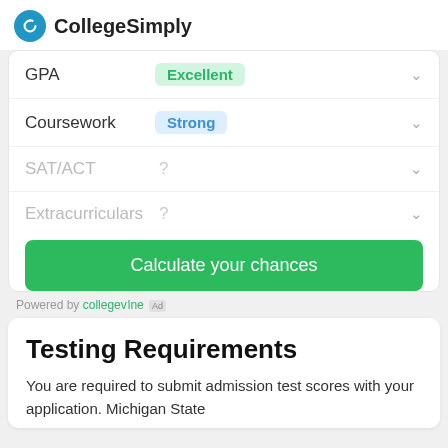CollegeSimply
GPA  Excellent
Coursework  Strong
SAT/ACT  ?
Extracurriculars  ?
Calculate your chances
Powered by collegevine [Ad]
Testing Requirements
You are required to submit admission test scores with your application. Michigan State